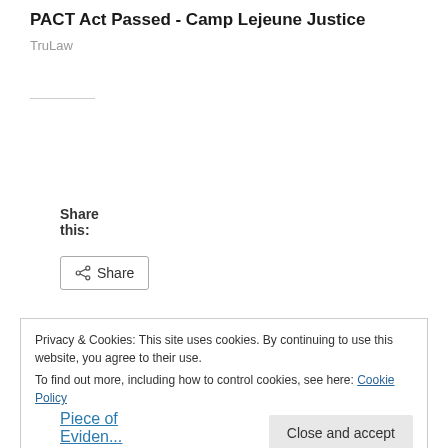PACT Act Passed - Camp Lejeune Justice
TruLaw
Share this:
Share
Loading...
Related
Privacy & Cookies: This site uses cookies. By continuing to use this website, you agree to their use.
To find out more, including how to control cookies, see here: Cookie Policy
Close and accept
Piece of Eviden...